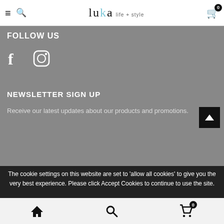luka life + style — navigation header with hamburger menu, search, logo, and cart (0)
FOLLOW US
[Figure (illustration): Facebook and Instagram social media icons in white on gray background]
NEWSLETTER SIGN UP
Receive our latest updates about our products and promotions.
The cookie settings on this website are set to 'allow all cookies' to give you the very best experience. Please click Accept Cookies to continue to use the site.
PRIVACY POLICY   ACCEPT ✔
Bottom navigation: home, search, cart (0)